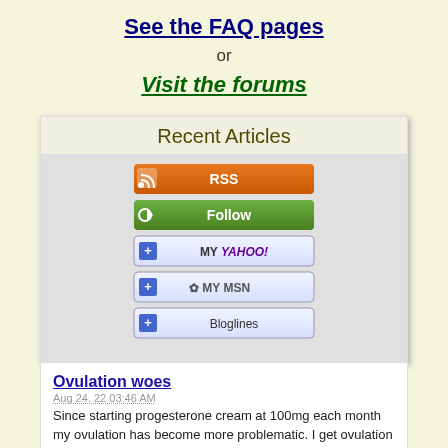See the FAQ pages
or
Visit the forums
Recent Articles
[Figure (infographic): RSS and feed subscription buttons: RSS, Follow, My Yahoo!, My MSN, Bloglines]
Ovulation woes
Aug 24, 22 03:46 AM
Since starting progesterone cream at 100mg each month my ovulation has become more problematic. I get ovulation pain. This is normal for me but now I
Read More
Increased dose - feeling horrible
Aug 24, 22 03:28 AM